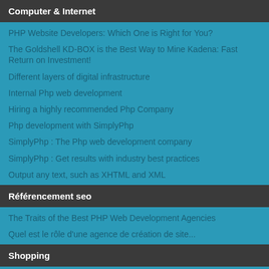Computer & Internet
PHP Website Developers: Which One is Right for You?
The Goldshell KD-BOX is the Best Way to Mine Kadena: Fast Return on Investment!
Different layers of digital infrastructure
Internal Php web development
Hiring a highly recommended Php Company
Php development with SimplyPhp
SimplyPhp : The Php web development company
SimplyPhp : Get results with industry best practices
Output any text, such as XHTML and XML
Référencement seo
The Traits of the Best PHP Web Development Agencies
Quel est le rôle d'une agence de création de site...
Shopping